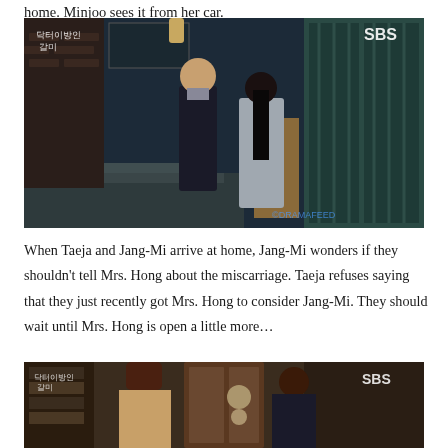home. Minjoo sees it from her car.
[Figure (screenshot): TV drama screenshot from SBS showing a man in a dark suit and a woman in a grey coat standing outside a brick building at night. Korean text in top-left corner reads 닥터이방인. Watermark DRAMAFEED visible in bottom-right corner.]
When Taeja and Jang-Mi arrive at home, Jang-Mi wonders if they shouldn't tell Mrs. Hong about the miscarriage. Taeja refuses saying that they just recently got Mrs. Hong to consider Jang-Mi. They should wait until Mrs. Hong is open a little more…
[Figure (screenshot): TV drama screenshot from SBS showing two women with brown hair and a third person partially visible, standing inside what appears to be a home interior. Korean text in top-left corner visible.]